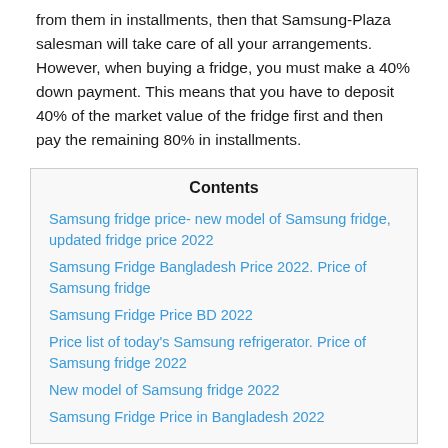from them in installments, then that Samsung-Plaza salesman will take care of all your arrangements. However, when buying a fridge, you must make a 40% down payment. This means that you have to deposit 40% of the market value of the fridge first and then pay the remaining 80% in installments.
Contents
Samsung fridge price- new model of Samsung fridge, updated fridge price 2022
Samsung Fridge Bangladesh Price 2022. Price of Samsung fridge
Samsung Fridge Price BD 2022
Price list of today's Samsung refrigerator. Price of Samsung fridge 2022
New model of Samsung fridge 2022
Samsung Fridge Price in Bangladesh 2022